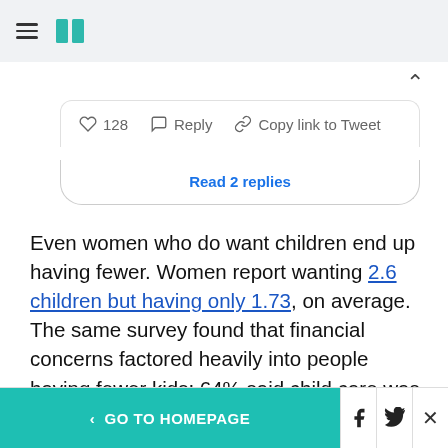HuffPost navigation header with hamburger menu and logo
128  Reply  Copy link to Tweet
Read 2 replies
Even women who do want children end up having fewer. Women report wanting 2.6 children but having only 1.73, on average. The same survey found that financial concerns factored heavily into people having fewer kids: 64% said child care was too expensive, 43% said financial precarity forced them